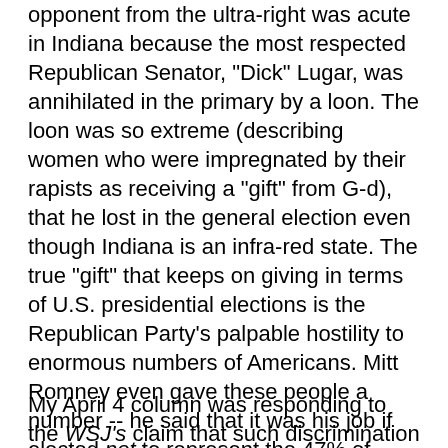opponent from the ultra-right was acute in Indiana because the most respected Republican Senator, "Dick" Lugar, was annihilated in the primary by a loon. The loon was so extreme (describing women who were impregnated by their rapists as receiving a "gift" from G-d), that he lost in the general election even though Indiana is an infra-red state. The true "gift" that keeps on giving in terms of U.S. presidential elections is the Republican Party's palpable hostility to enormous numbers of Americans. Mitt Romney even gave these people a number -- he said that it was his job if elected not to represent the 47% of Americans.
My April 4 column was responding to the WSJ's claim that such discrimination by merchants represented "dissent" and that "liberals" (by which they meant often conservative major business leaders) were acting outrageously because they did not "tolerate" such "dissent." The great thing about the modern WSJ is that it only takes